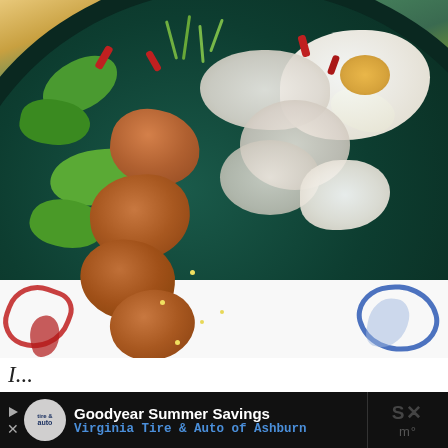[Figure (photo): Close-up overhead photo of a dark teal/green ceramic plate with Korean-style bibimbap or rice bowl dish, containing seasoned meat pieces (likely chicken or pork) with sesame seeds, fried egg with yolk, white rice, fresh spinach leaves, dried red chilies, microgreens/sprouts, and colorful vegetables. The plate sits on a patterned white tablecloth with red and blue decorative motifs.]
I...
[Figure (infographic): Advertisement banner with black background. Shows Goodyear Tire & Auto logo (circular), play and close buttons on left. Text reads 'Goodyear Summer Savings' in white bold and 'Virginia Tire & Auto of Ashburn' in blue monospace font. Blue arrow/navigation icon on right. Right edge shows partial 'SX' text and degree/temperature symbol overlay.]